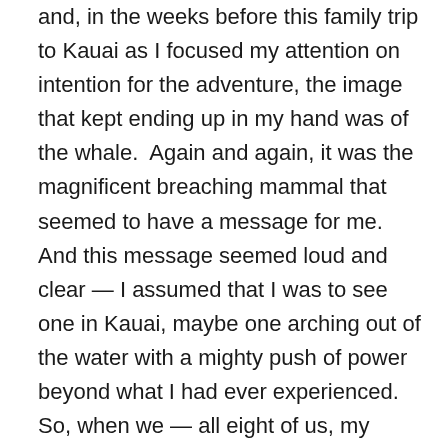and, in the weeks before this family trip to Kauai as I focused my attention on intention for the adventure, the image that kept ending up in my hand was of the whale.  Again and again, it was the magnificent breaching mammal that seemed to have a message for me.  And this message seemed loud and clear — I assumed that I was to see one in Kauai, maybe one arching out of the water with a mighty push of power beyond what I had ever experienced.  So, when we — all eight of us, my husband Cam and I, our two sons and their wives, and our two grandkids — congregated in our vacation rental home in Princeville, Kauai late that first night early in January, we excitedly called out our desires helter-skelter before falling into bed jet-lagged and Hawaii-happy after our long day of plane travel.  We wanted beach time and hiking trips and fresh fruits and fish.  We wanted to lounge and swim